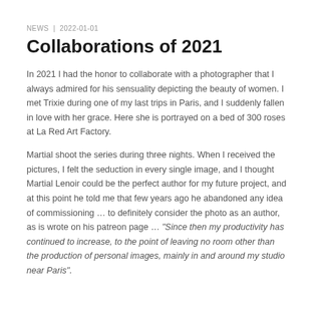NEWS  |  2022-01-01
Collaborations of 2021
In 2021 I had the honor to collaborate with a photographer that I always admired for his sensuality depicting the beauty of women. I met Trixie during one of my last trips in Paris, and I suddenly fallen in love with her grace. Here she is portrayed on a bed of 300 roses at La Red Art Factory.
Martial shoot the series during three nights. When I received the pictures, I felt the seduction in every single image, and I thought Martial Lenoir could be the perfect author for my future project, and at this point he told me that few years ago he abandoned any idea of commissioning … to definitely consider the photo as an author, as is wrote on his patreon page … "Since then my productivity has continued to increase, to the point of leaving no room other than the production of personal images, mainly in and around my studio near Paris".